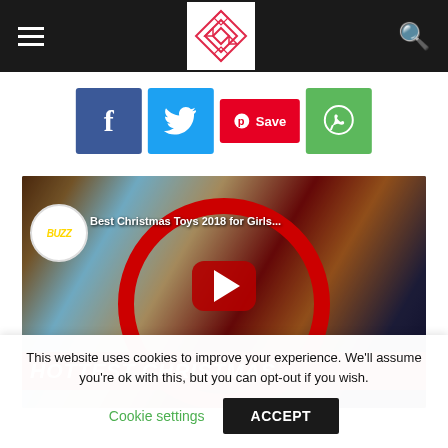Navigation header with hamburger menu, logo, and search icon
[Figure (other): Social share buttons row: Facebook (f), Twitter (bird), Pinterest (Save), WhatsApp]
[Figure (screenshot): YouTube video thumbnail titled 'Best Christmas Toys 2018 for Girls...' with HOTTEST CHRISTMAS banner, play button, Buzz badge, and red circle frame]
This website uses cookies to improve your experience. We'll assume you're ok with this, but you can opt-out if you wish.
Cookie settings   ACCEPT